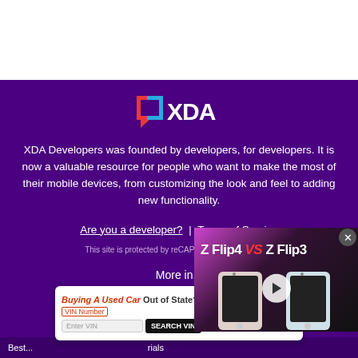[Figure (logo): XDA Developers logo with colored bracket and XDA text in white]
XDA Developers was founded by developers, for developers. It is now a valuable resource for people who want to make the most of their mobile devices, from customizing the look and feel to adding new functionality.
Are you a developer? | Terms of Service
This site is protected by reCAPTCHA and the Goog...
[Figure (screenshot): Video overlay showing Z Flip4 VS Z Flip3 comparison with phone images and play button]
More in...
Contact   Advertise   About
Privacy P...
[Figure (infographic): Advertisement banner: Buying A Used Car Out of State? VIN Number search with Bumper logo]
Best...  ...rials